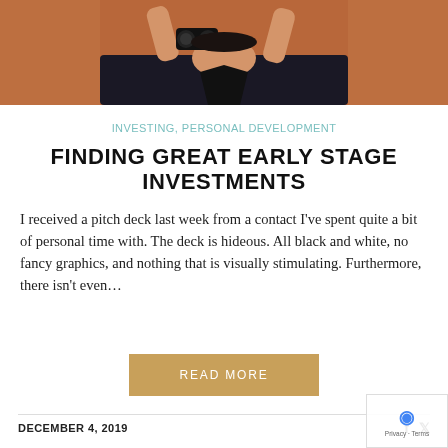[Figure (photo): Person looking through binoculars against an orange/brown background, viewed from below]
INVESTING, PERSONAL DEVELOPMENT
FINDING GREAT EARLY STAGE INVESTMENTS
I received a pitch deck last week from a contact I've spent quite a bit of personal time with. The deck is hideous. All black and white, no fancy graphics, and nothing that is visually stimulating. Furthermore, there isn't even...
READ MORE
DECEMBER 4, 2019